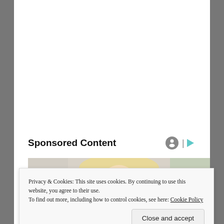Sponsored Content
[Figure (photo): Photo of a blonde woman looking down, partially visible at top and bottom of a sponsored content card]
Privacy & Cookies: This site uses cookies. By continuing to use this website, you agree to their use.
To find out more, including how to control cookies, see here: Cookie Policy
Close and accept